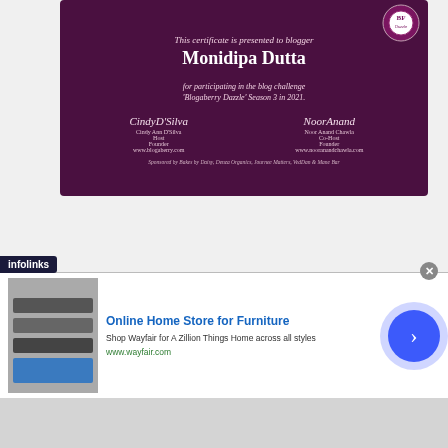[Figure (illustration): A dark purple certificate presented to blogger Monidipa Dutta for participating in the blog challenge 'Blogaberry Dazzle' Season 3 in 2021, with two signatures from Cindy Ann D'Silva (Host, Founder, www.blogaberry.com) and Noor Anand Chawla (Co-Host, Founder, www.nooranandchawla.com). Sponsored by Bakes by Daisy, Denza Organics, Journee Matters, VedDan & Mane Bar.]
[Figure (illustration): A purple gradient Certificate of Achievement awarded to Monidipa Dutta for successfully completing the 2-month long blog challenge 'Blogaberry Dazzle' Season 3 in February and March 2022. Features Blogaberry BF Dazzle logo on the left.]
[Figure (illustration): Advertisement banner from infolinks for Wayfair Online Home Store for Furniture. Text: 'Online Home Store for Furniture', 'Shop Wayfair for A Zillion Things Home across all styles', 'www.wayfair.com'. Shows furniture images on left and a blue circular arrow button on right.]